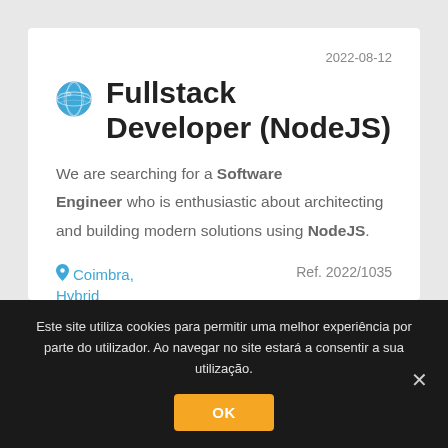2022-08-12
Fullstack Developer (NodeJS)
We are searching for a Software Engineer who is enthusiastic about architecting and building modern solutions using NodeJS.
Coimbra, Hybrid    Ref. 2022/1035
Este site utiliza cookies para permitir uma melhor experiência por parte do utilizador. Ao navegar no site estará a consentir a sua utilização.